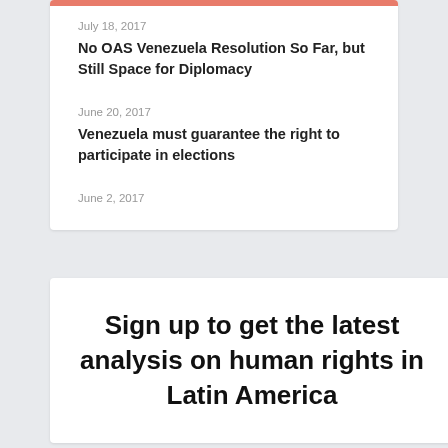July 18, 2017
No OAS Venezuela Resolution So Far, but Still Space for Diplomacy
June 20, 2017
Venezuela must guarantee the right to participate in elections
June 2, 2017
Sign up to get the latest analysis on human rights in Latin America